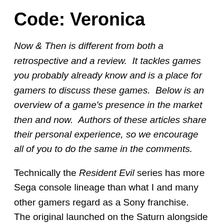Code: Veronica
Now & Then is different from both a retrospective and a review.  It tackles games you probably already know and is a place for gamers to discuss these games.  Below is an overview of a game's presence in the market then and now.  Authors of these articles share their personal experience, so we encourage all of you to do the same in the comments.
Technically the Resident Evil series has more Sega console lineage than what I and many other gamers regard as a Sony franchise.  The original launched on the Saturn alongside the Playstation and although it took some time, enhanced versions of the second and third title appeared on the Dreamcast.  Mind you, all three of the first titles still premiered on Playstation and were ported to